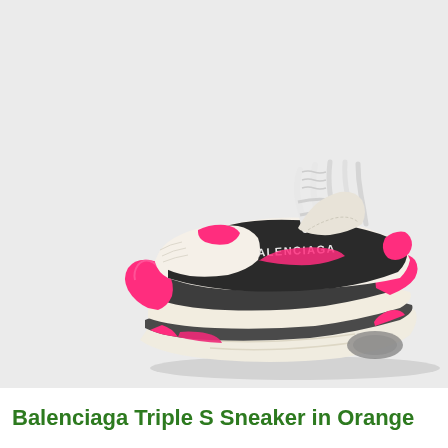[Figure (photo): Balenciaga Triple S sneaker photographed from the side, showing chunky triple-stacked sole in cream/off-white, black leather upper panels, hot pink/neon pink accents on the toe cap, heel, and midsole sections, white rope-style laces, and 'BALENCIAGA' text printed on the black lateral side panel. Background is light grey/white.]
Balenciaga Triple S Sneaker in Orange